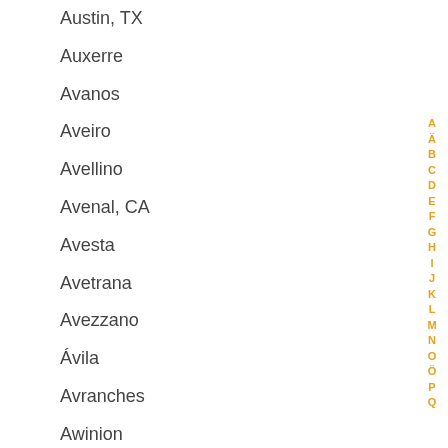Austin, TX
Auxerre
Avanos
Aveiro
Avellino
Avenal, CA
Avesta
Avetrana
Avezzano
Ávila
Avranches
Awinion
Ayamonte
Aydın
Ayvalık